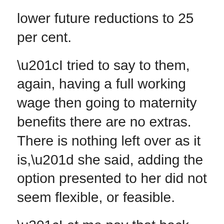lower future reductions to 25 per cent.
“I tried to say to them, again, having a full working wage then going to maternity benefits there are no extras. There is nothing left over as it is,” she said, adding the option presented to her did not seem flexible, or feasible.
“Let me pay that back when I go back to work. I’ve paid into (EI) my whole working life and I’ve never used it before.”
The government paused EI debt recoupment during the pandemic and restarted the process in March 2022. The recoupment program reduces a person’s current EI benefits in order to recover outstanding debt, including clients with a repayment of CERB from Service